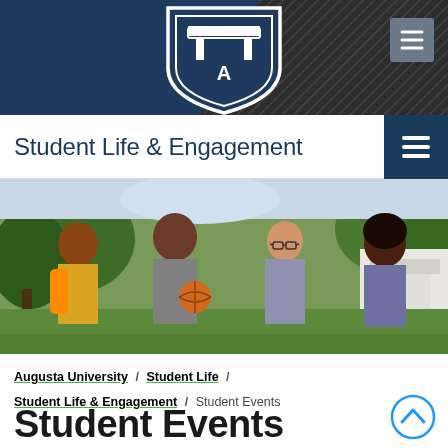[Figure (logo): Augusta University shield logo in white on dark navy blue header bar]
Student Life & Engagement
[Figure (photo): Four female college students smiling outdoors on campus, one holding a basketball, trees and buildings visible in background]
Augusta University / Student Life / Student Life & Engagement / Student Events
Student Events